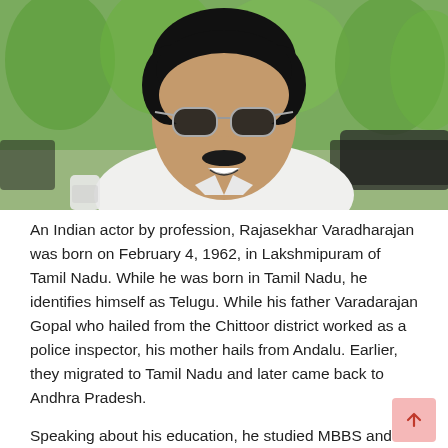[Figure (photo): Portrait photo of Rajasekhar Varadharajan, an Indian actor, wearing aviator sunglasses and a white shirt, smiling, with green trees and a car in the background.]
An Indian actor by profession, Rajasekhar Varadharajan was born on February 4, 1962, in Lakshmipuram of Tamil Nadu. While he was born in Tamil Nadu, he identifies himself as Telugu. While his father Varadarajan Gopal who hailed from the Chittoor district worked as a police inspector, his mother hails from Andalu. Earlier, they migrated to Tamil Nadu and later came back to Andhra Pradesh.
Speaking about his education, he studied MBBS and